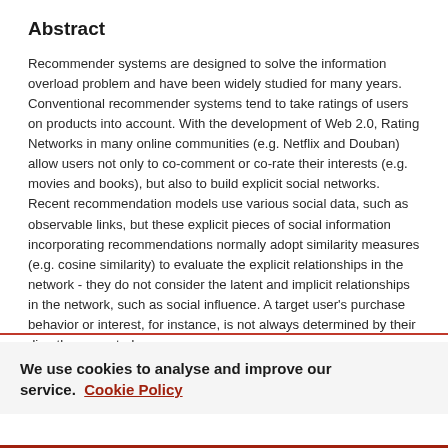Abstract
Recommender systems are designed to solve the information overload problem and have been widely studied for many years. Conventional recommender systems tend to take ratings of users on products into account. With the development of Web 2.0, Rating Networks in many online communities (e.g. Netflix and Douban) allow users not only to co-comment or co-rate their interests (e.g. movies and books), but also to build explicit social networks. Recent recommendation models use various social data, such as observable links, but these explicit pieces of social information incorporating recommendations normally adopt similarity measures (e.g. cosine similarity) to evaluate the explicit relationships in the network - they do not consider the latent and implicit relationships in the network, such as social influence. A target user's purchase behavior or interest, for instance, is not always determined by their directly connected
We use cookies to analyse and improve our service. Cookie Policy